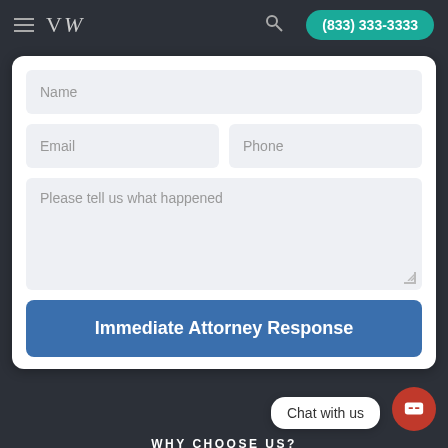VW | (833) 333-3333
Name
Email
Phone
Please tell us what happened
Immediate Attorney Response
Chat with us
WHY CHOOSE US?